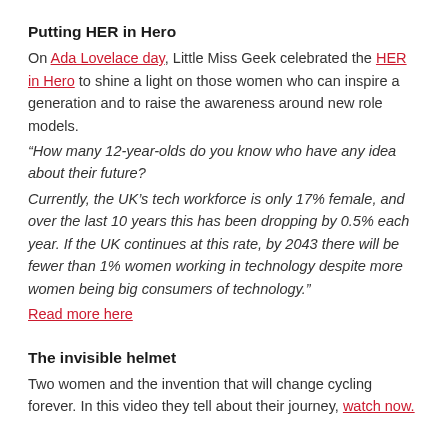Putting HER in Hero
On Ada Lovelace day, Little Miss Geek celebrated the HER in Hero to shine a light on those women who can inspire a generation and to raise the awareness around new role models.
“How many 12-year-olds do you know who have any idea about their future?
Currently, the UK’s tech workforce is only 17% female, and over the last 10 years this has been dropping by 0.5% each year. If the UK continues at this rate, by 2043 there will be fewer than 1% women working in technology despite more women being big consumers of technology.”
Read more here
The invisible helmet
Two women and the invention that will change cycling forever. In this video they tell about their journey, watch now.